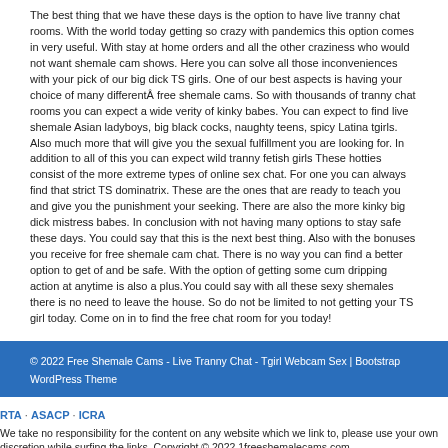The best thing that we have these days is the option to have live tranny chat rooms. With the world today getting so crazy with pandemics this option comes in very useful. With stay at home orders and all the other craziness who would not want shemale cam shows. Here you can solve all those inconveniences with your pick of our big dick TS girls. One of our best aspects is having your choice of many differentÂ free shemale cams. So with thousands of tranny chat rooms you can expect a wide verity of kinky babes. You can expect to find live shemale Asian ladyboys, big black cocks, naughty teens, spicy Latina tgirls. Also much more that will give you the sexual fulfillment you are looking for. In addition to all of this you can expect wild tranny fetish girls These hotties consist of the more extreme types of online sex chat. For one you can always find that strict TS dominatrix. These are the ones that are ready to teach you and give you the punishment your seeking. There are also the more kinky big dick mistress babes. In conclusion with not having many options to stay safe these days. You could say that this is the next best thing. Also with the bonuses you receive for free shemale cam chat. There is no way you can find a better option to get of and be safe. With the option of getting some cum dripping action at anytime is also a plus.You could say with all these sexy shemales there is no need to leave the house. So do not be limited to not getting your TS girl today. Come on in to find the free chat room for you today!
© 2022 Free Shemale Cams - Live Tranny Chat - Tgirl Webcam Sex | Bootstrap WordPress Theme
RTA · ASACP · ICRA
We take no responsibility for the content on any website which we link to, please use your own discretion while surfing the links. Copyright © 2022 1freeshemalecams.com